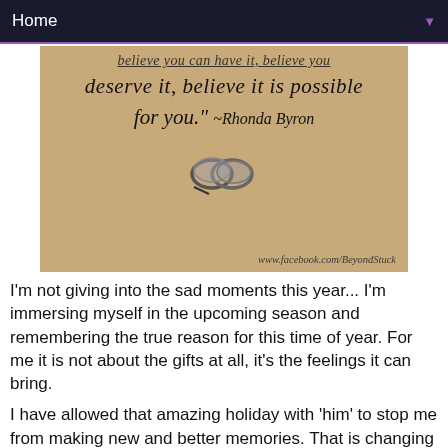Home ▼
[Figure (photo): Inspirational quote image over a tan/brown background with two ring objects. Text reads: 'believe you can have it, believe you deserve it, believe it is possible for you.' ~Rhonda Byron. Website: www.facebook.com/BeyondStuck]
I'm not giving into the sad moments this year... I'm immersing myself in the upcoming season and remembering the true reason for this time of year. For me it is not about the gifts at all, it's the feelings it can bring.
I have allowed that amazing holiday with 'him' to stop me from making new and better memories. That is changing this year, both Valentina and I deserve better than past memories, we are making new ones together. The past will not define who I am in the future, the present will.
[Figure (photo): Pink/red glittery sparkly background image, partially visible at the bottom of the page.]